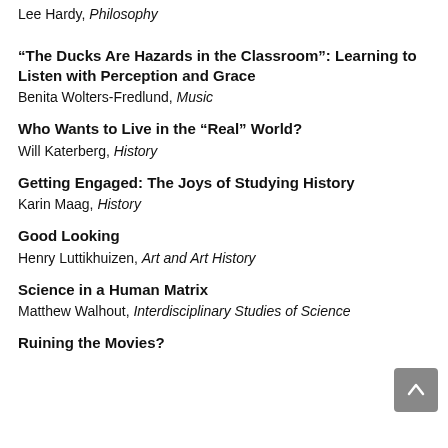Lee Hardy, Philosophy
“The Ducks Are Hazards in the Classroom”: Learning to Listen with Perception and Grace
Benita Wolters-Fredlund, Music
Who Wants to Live in the “Real” World?
Will Katerberg, History
Getting Engaged: The Joys of Studying History
Karin Maag, History
Good Looking
Henry Luttikhuizen, Art and Art History
Science in a Human Matrix
Matthew Walhout, Interdisciplinary Studies of Science
Ruining the Movies?